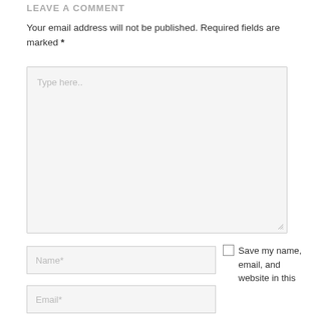LEAVE A COMMENT
Your email address will not be published. Required fields are marked *
[Figure (other): Large text area input field with placeholder text 'Type here..' and a resize handle in the bottom right corner]
[Figure (other): Name input field with placeholder text 'Name*']
[Figure (other): Email input field with placeholder text 'Email*']
Save my name, email, and website in this